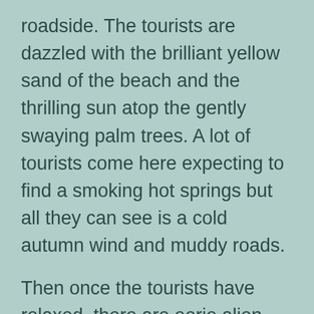roadside. The tourists are dazzled with the brilliant yellow sand of the beach and the thrilling sun atop the gently swaying palm trees. A lot of tourists come here expecting to find a smoking hot springs but all they can see is a cold autumn wind and muddy roads.
Then once the tourists have relaxed, there are eerie alien creatures to be seen moving around the seemingly deserted house and observing the tourists using the only functioning fireplace, Netflix trying to understand what could have happened to have really lost their mind.